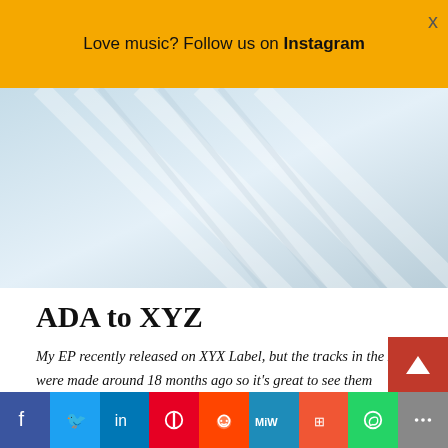Love music? Follow us on Instagram
[Figure (photo): Abstract light blue diagonal lines / rays image used as article hero image]
ADA to XYZ
My EP recently released on XYX Label, but the tracks in the EP were made around 18 months ago so it's great to see them finally released. I released two tracks on their "Blanche" compilation at the start of the year and they asked me for a full EP. I'd be
f  Twitter  in  Pinterest  Reddit  MW  Mix  WhatsApp  More